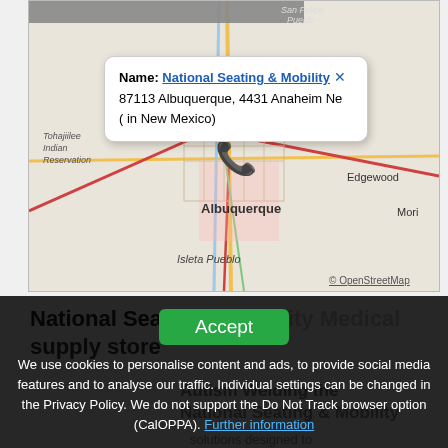[Figure (map): OpenStreetMap showing Albuquerque, New Mexico area with a popup info box for National Seating & Mobility at 87113 Albuquerque, 4431 Anaheim Ne (in New Mexico). A red phone icon marker is placed near central Albuquerque. Labels include Edgewood, Mori(arty), Isleta Pueblo, Tohajiilee Indian Reservation, San Felipe Pueblo.]
Name: National Seating & Mobility ✕
87113 Albuquerque, 4431 Anaheim Ne
( in New Mexico)
National Seating & Mobility Medical supply store
We use cookies to personalise content and ads, to provide social media features and to analyse our traffic. Individual settings can be changed in the Privacy Policy. We do not support the Do Not Track browser option (CalOPPA). Further information